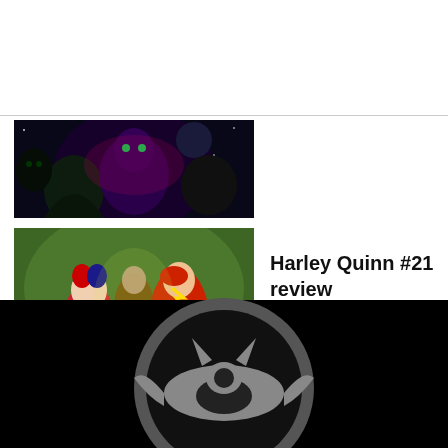[Figure (illustration): Comic book cover thumbnail - dark sci-fi themed image with alien/monster figures and cosmic background]
[Figure (illustration): Comic book cover thumbnail for Harley Quinn #21 - showing Harley Quinn and other costumed characters in colorful action scene]
Harley Quinn #21 review
[Figure (logo): Batman logo / bat symbol in gray metallic style on black background, partially cropped at bottom of page]